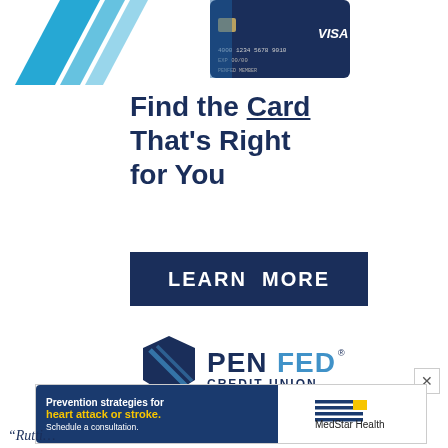[Figure (illustration): PenFed credit card (Visa) with blue diagonal stripe design, partially visible at top of page alongside blue angular graphic stripes]
Find the Card That’s Right for You
[Figure (other): LEARN MORE button — dark navy blue rectangular button with white uppercase text]
[Figure (logo): PenFed Credit Union logo — dark navy pentagon/shield icon with blue stripe accents, text reading PENFED CREDIT UNION]
[Figure (other): MedStar Health advertisement banner — dark blue left panel with text 'Prevention strategies for heart attack or stroke. Schedule a consultation.' in white and yellow; right panel with MedStar Health logo]
“Rutti…